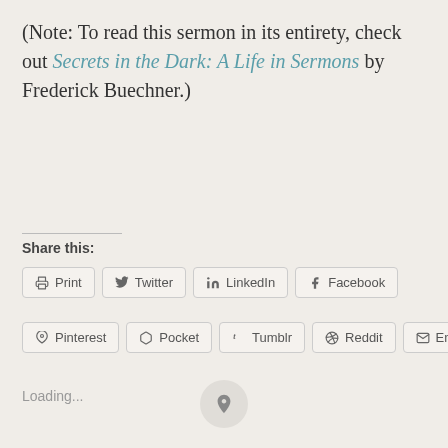(Note: To read this sermon in its entirety, check out Secrets in the Dark: A Life in Sermons by Frederick Buechner.)
Share this:
Print | Twitter | LinkedIn | Facebook | Pinterest | Pocket | Tumblr | Reddit | Email
Loading...